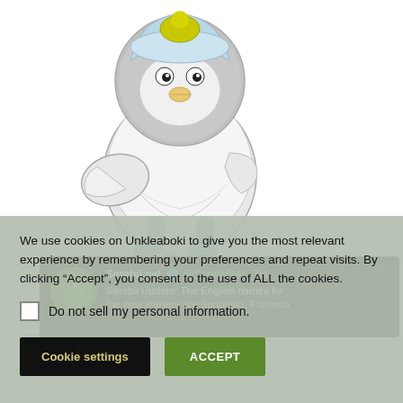[Figure (illustration): A cartoon Pokemon character (duck-like creature) with light blue/white feathers, blue feet, and a green/yellow head with a light blue cap-like feature. The character is standing facing forward against a white/light gray background.]
[Figure (screenshot): Twitter/social media post from Serebii.net (@SerebiiNet) posted 7 minutes ago. Text reads: 'Serebii Update: The English names for the new starters are Sprigatito, Fuecoco...' (text is cut off). The Serebii.net avatar (green circle with anime character) is shown on the left. A three-dot menu icon is on the right. Background is dark/black.]
We use cookies on Unkleaboki to give you the most relevant experience by remembering your preferences and repeat visits. By clicking “Accept”, you consent to the use of ALL the cookies.
Do not sell my personal information.
Cookie settings
ACCEPT